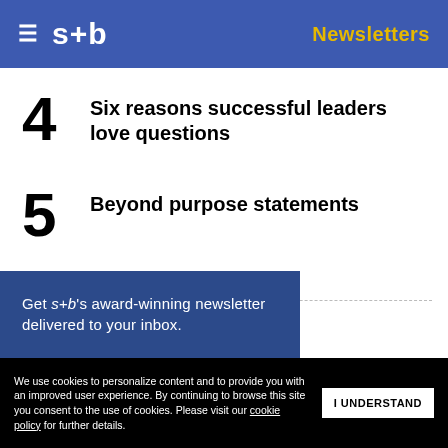s+b — Newsletters
4 Six reasons successful leaders love questions
5 Beyond purpose statements
Get s+b's award-winning newsletter delivered to your inbox.
We use cookies to personalize content and to provide you with an improved user experience. By continuing to browse this site you consent to the use of cookies. Please visit our cookie policy for further details.